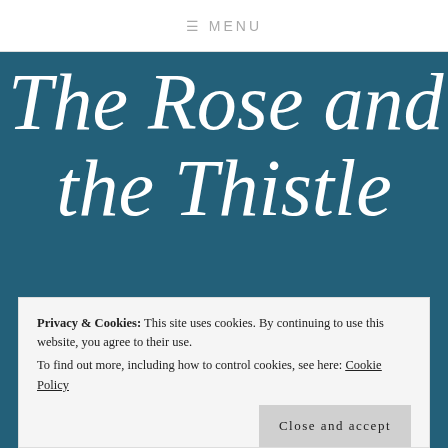≡ MENU
The Rose and the Thistle
Privacy & Cookies: This site uses cookies. By continuing to use this website, you agree to their use.
To find out more, including how to control cookies, see here: Cookie Policy
Close and accept